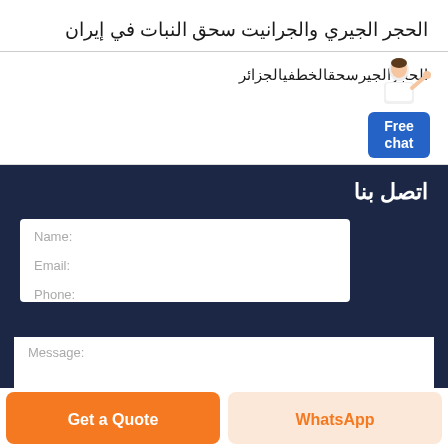الحجر الجيري والجرانيت سحق النبات في إيران
الحجرالجيرسحقالخطفيالجزائر
[Figure (illustration): Customer service agent widget with 'Free chat' button]
اتصل بنا
Name:
Email:
Phone:
Message:
Get a Quote
WhatsApp